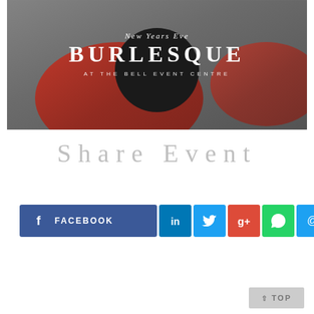[Figure (photo): Promotional event poster for New Year's Eve Burlesque at The Bell Event Centre, showing a woman in red costume holding a whip with chain background]
Share Event
[Figure (infographic): Social media share buttons: Facebook (wide button), LinkedIn, Twitter, Google+, WhatsApp, Email]
TOP